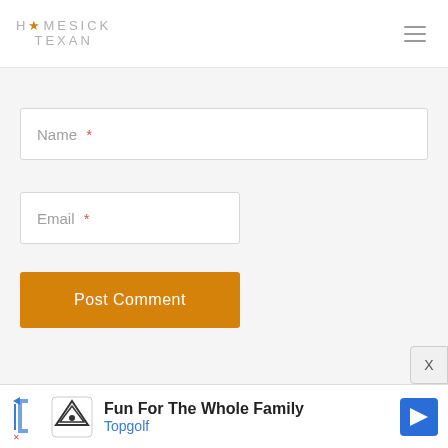HOMESICK TEXAN
Name *
Email *
Post Comment
[Figure (infographic): Topgolf advertisement banner at bottom: 'Fun For The Whole Family' with Topgolf logo and navigation arrow icon]